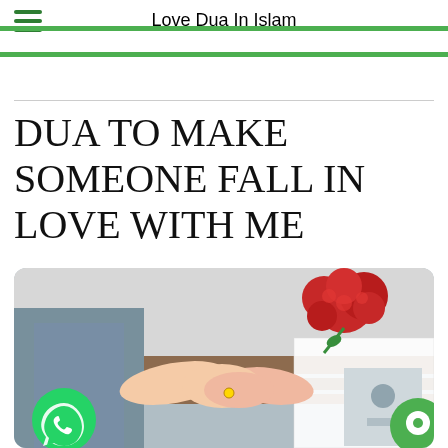Love Dua In Islam
DUA TO MAKE SOMEONE FALL IN LOVE WITH ME
[Figure (photo): A couple sitting on a bench holding hands, with a bouquet of red roses visible, woman in white dress and man in grey suit.]